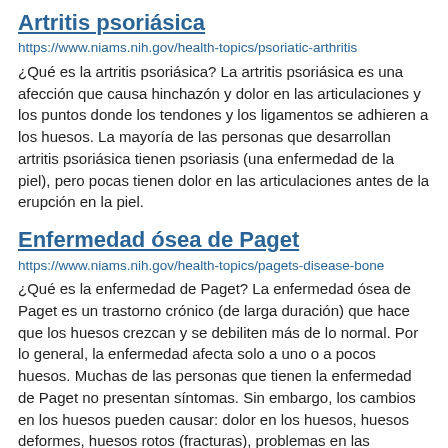Artritis psoriásica
https://www.niams.nih.gov/health-topics/psoriatic-arthritis
¿Qué es la artritis psoriásica? La artritis psoriásica es una afección que causa hinchazón y dolor en las articulaciones y los puntos donde los tendones y los ligamentos se adhieren a los huesos. La mayoría de las personas que desarrollan artritis psoriásica tienen psoriasis (una enfermedad de la piel), pero pocas tienen dolor en las articulaciones antes de la erupción en la piel.
Enfermedad ósea de Paget
https://www.niams.nih.gov/health-topics/pagets-disease-bone
¿Qué es la enfermedad de Paget? La enfermedad ósea de Paget es un trastorno crónico (de larga duración) que hace que los huesos crezcan y se debiliten más de lo normal. Por lo general, la enfermedad afecta solo a uno o a pocos huesos. Muchas de las personas que tienen la enfermedad de Paget no presentan síntomas. Sin embargo, los cambios en los huesos pueden causar: dolor en los huesos, huesos deformes, huesos rotos (fracturas), problemas en las articulaciones cercanas a los huesos con la enfermedad. Con tratamiento, muchas personas pueden: controlar sus síntomas, aliviar el dolor, controlar los efectos
Polimialgia reumática y arteritis de células